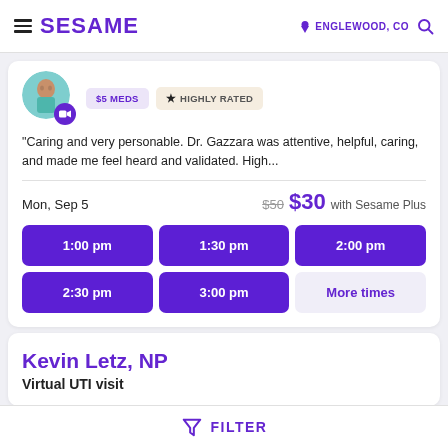SESAME | ENGLEWOOD, CO
"Caring and very personable. Dr. Gazzara was attentive, helpful, caring, and made me feel heard and validated. High...
Mon, Sep 5   $50  $30 with Sesame Plus
1:00 pm | 1:30 pm | 2:00 pm | 2:30 pm | 3:00 pm | More times
Kevin Letz, NP
Virtual UTI visit
FILTER